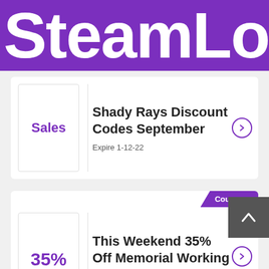SteamLo
Shady Rays Discount Codes September
Expire 1-12-22
This Weekend 35% Off Memorial Working Day Order
Expire 30-10-22
Coupons
Coupons